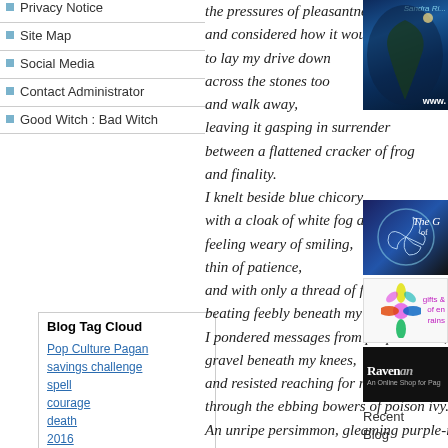Privacy Notice
Site Map
Social Media
Contact Administrator
Good Witch : Bad Witch
Blog Tag Cloud
Pop Culture Pagan
savings challenge
spell
courage
death
2016
theology
the pressures of pleasantness
and considered how it would feel
to lay my drive down
across the stones too
and walk away,
leaving it gasping in surrender
between a flattened cracker of frog
and finality.
I knelt beside blue chicory
with a cloak of white fog across my shoulders
feeling weary of smiling,
thin of patience,
and with only a thread of faded magic
beating feebly beneath my skin.
I pondered messages from purple asters,
gravel beneath my knees,
and resisted reaching for rosehips
through the ebbing bowers of poison ivy.
An unripe persimmon, gleaming purple-red
below the bright white sky,
rolled into my path
and as I made my way back up the hill
two vultures rose silent and hulking from the trees
[Figure (photo): Fantasy/mystical image with dark tree and blue tones, partial URL visible]
[Figure (logo): The G of something logo with celtic triskelion design on dark blue background]
[Figure (logo): Gifts and energy store logo with colorful flower symbol on white background]
[Figure (logo): Raven logo - black background with white text 'Ravenan' and subtitle 'An Online Shop for Pag...']
Recent Blog Comments